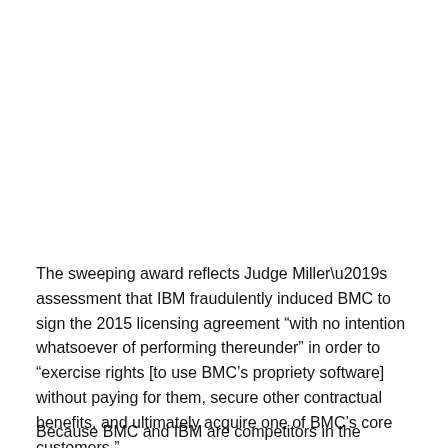The sweeping award reflects Judge Miller’s assessment that IBM fraudulently induced BMC to sign the 2015 licensing agreement “with no intention whatsoever of performing thereunder” in order to “exercise rights [to use BMC’s propriety software] without paying for them, secure other contractual benefits, and ultimately acquire one of BMC’s core customers.”
Because BMC and IBM are competitors in the mainframe